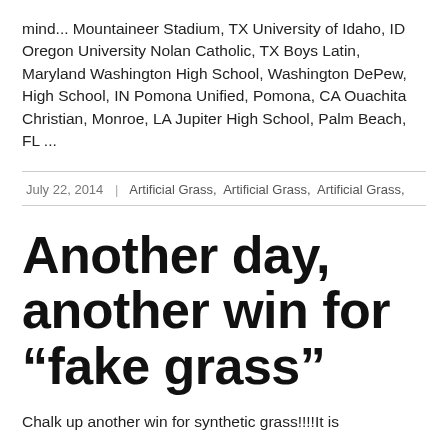mind... Mountaineer Stadium, TX University of Idaho, ID Oregon University Nolan Catholic, TX Boys Latin, Maryland Washington High School, Washington DePew, High School, IN Pomona Unified, Pomona, CA Ouachita Christian, Monroe, LA Jupiter High School, Palm Beach, FL ...
July 22, 2014  |  Artificial Grass,  Artificial Grass,  Artificial Grass,
Another day, another win for "fake grass"
Chalk up another win for synthetic grass!!!!It is